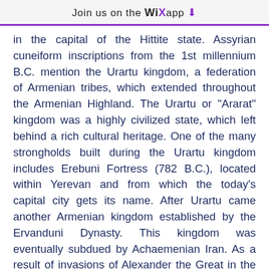Join us on the WiX app ↓
in the capital of the Hittite state. Assyrian cuneiform inscriptions from the 1st millennium B.C. mention the Urartu kingdom, a federation of Armenian tribes, which extended throughout the Armenian Highland. The Urartu or "Ararat" kingdom was a highly civilized state, which left behind a rich cultural heritage. One of the many strongholds built during the Urartu kingdom includes Erebuni Fortress (782 B.C.), located within Yerevan and from which the today's capital city gets its name. After Urartu came another Armenian kingdom established by the Ervanduni Dynasty. This kingdom was eventually subdued by Achaemenian Iran. As a result of invasions of Alexander the Great in the IV century B.C. Armenia became part of the Hellenic world.